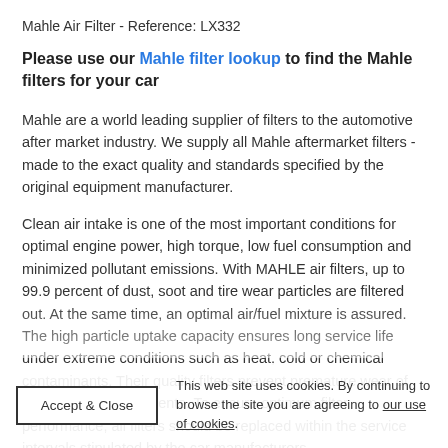Mahle Air Filter - Reference: LX332
Please use our Mahle filter lookup to find the Mahle filters for your car
Mahle are a world leading supplier of filters to the automotive after market industry. We supply all Mahle aftermarket filters - made to the exact quality and standards specified by the original equipment manufacturer.
Clean air intake is one of the most important conditions for optimal engine power, high torque, low fuel consumption and minimized pollutant emissions. With MAHLE air filters, up to 99.9 percent of dust, soot and tire wear particles are filtered out. At the same time, an optimal air/fuel mixture is assured. The high particle uptake capacity ensures long service life under extreme conditions such as heat, cold or chemical contaminants. Their quality filters prevent premature wear of other engine components. To ensure optimum filter performance, all filters should be replaced within the service intervals stipulated by the car manufacturers.
This web site uses cookies. By continuing to browse the site you are agreeing to our use of cookies.